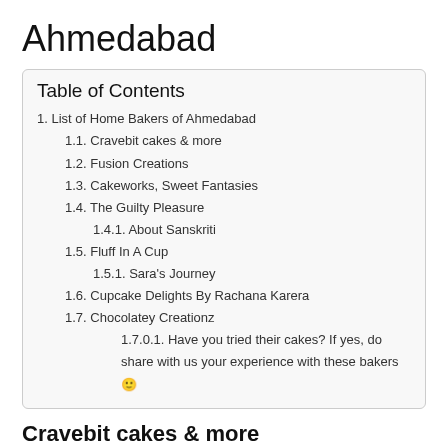Ahmedabad
| Table of Contents |
| --- |
| 1. List of Home Bakers of Ahmedabad |
| 1.1. Cravebit cakes & more |
| 1.2. Fusion Creations |
| 1.3. Cakeworks, Sweet Fantasies |
| 1.4. The Guilty Pleasure |
| 1.4.1. About Sanskriti |
| 1.5. Fluff In A Cup |
| 1.5.1. Sara's Journey |
| 1.6. Cupcake Delights By Rachana Karera |
| 1.7. Chocolatey Creationz |
| 1.7.0.1. Have you tried their cakes? If yes, do share with us your experience with these bakers 🙂 |
Cravebit cakes & more
From always poking her finger into the luscious cream of cake and tasting it to now baking that delicious piece of